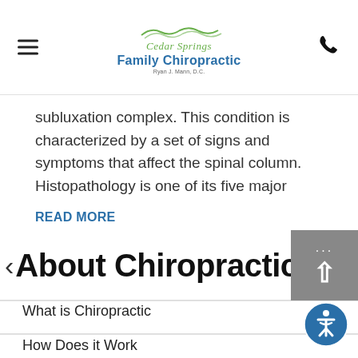Cedar Springs Family Chiropractic
subluxation complex. This condition is characterized by a set of signs and symptoms that affect the spinal column. Histopathology is one of its five major
READ MORE
< About Chiropractic C...
What is Chiropractic
How Does it Work